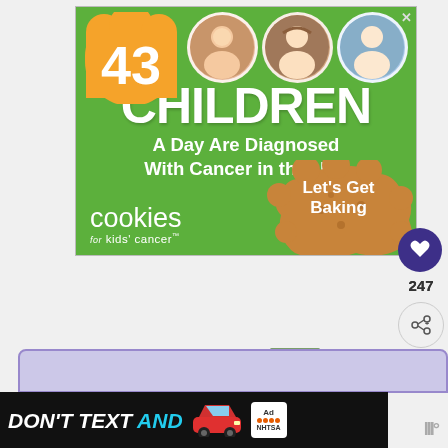[Figure (infographic): Advertisement banner for 'Cookies for Kids' Cancer'. Green background with orange badge showing '43', photos of three children in circles, large text reading 'CHILDREN A Day Are Diagnosed With Cancer in the U.S.', cookies for kids' cancer logo, and 'Let's Get Baking' text with cookie image.]
247
[Figure (infographic): WHAT'S NEXT panel showing a thumbnail image and text 'Fun Things to do in Florida...']
[Figure (infographic): Bottom advertisement strip with dark background showing 'DON'T TEXT AND' with a car emoji illustration and NHTSA ad badge logo]